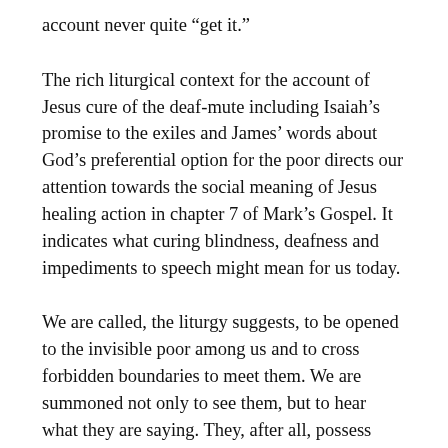account never quite “get it.”
The rich liturgical context for the account of Jesus cure of the deaf-mute including Isaiah’s promise to the exiles and James’ words about God’s preferential option for the poor directs our attention towards the social meaning of Jesus healing action in chapter 7 of Mark’s Gospel. It indicates what curing blindness, deafness and impediments to speech might mean for us today.
We are called, the liturgy suggests, to be opened to the invisible poor among us and to cross forbidden boundaries to meet them. We are summoned not only to see them, but to hear what they are saying. They, after all, possess what theologians call a “hermeneutical privilege,” i.e. the most reliable and accurate insight into what really ails our society, our